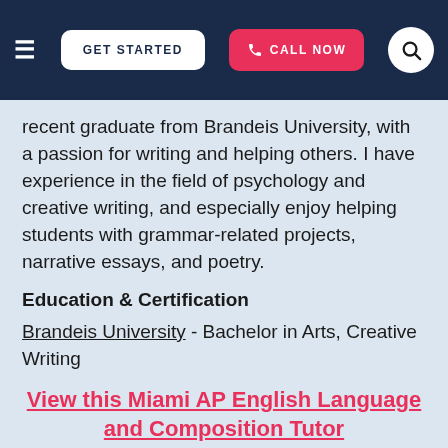GET STARTED  CALL NOW
recent graduate from Brandeis University, with a passion for writing and helping others. I have experience in the field of psychology and creative writing, and especially enjoy helping students with grammar-related projects, narrative essays, and poetry.
Education & Certification
Brandeis University - Bachelor in Arts, Creative Writing
View this Miami AP English Language and Composition Tutor